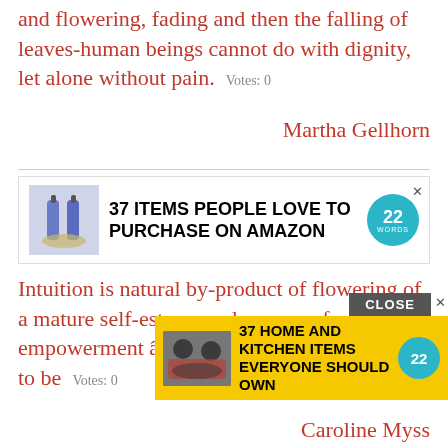and flowering, fading and then the falling of leaves-human beings cannot do with dignity, let alone without pain.  Votes: 0
Martha Gellhorn
[Figure (infographic): Advertisement banner: 37 ITEMS PEOPLE LOVE TO PURCHASE ON AMAZON with product images and 22Words badge]
Intuition is natural by-product of flowering of a mature self-esteem and a sense of empowerment â not power over, but power to be  Votes: 0
Caroline Myss
We la... flowe... identifying mark of our culture when it was subterranean and secret.  Votes: 0
[Figure (infographic): Overlay advertisement: CLOSE button and banner reading 37 HOME AND KITCHEN ITEMS EVERYONE SHOULD OWN with 22Words badge]